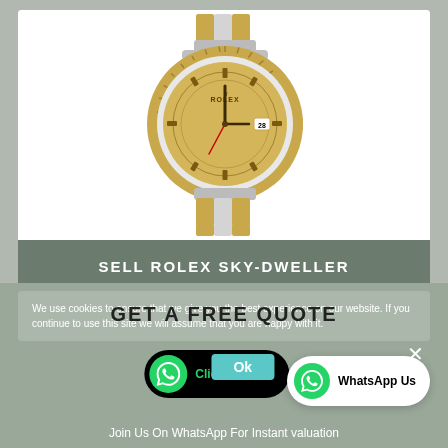[Figure (photo): Rolex Sky-Dweller watch with gold and silver two-tone Oyster bracelet, champagne dial with gold hour markers, fluted gold bezel, date window at 3 o'clock position]
SELL ROLEX SKY-DWELLER
We use cookies to ensure that we give you the best experience on our website. If you continue to use this site we will assume that you are happy with it.
GET A FREE QUOTE
Click To Chat
Ok
WhatsApp Us
Join Us On WhatsApp For Instant valuation